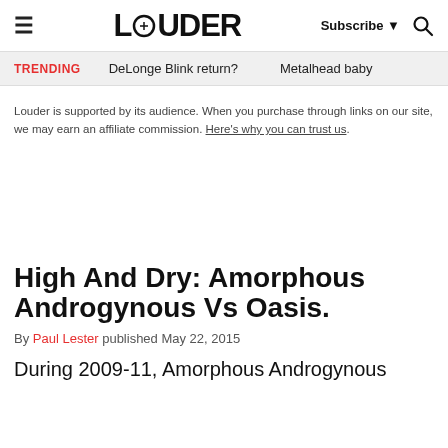LOUDER | Subscribe | Search
TRENDING   DeLonge Blink return?   Metalhead baby
Louder is supported by its audience. When you purchase through links on our site, we may earn an affiliate commission. Here's why you can trust us.
High And Dry: Amorphous Androgynous Vs Oasis.
By Paul Lester published May 22, 2015
During 2009-11, Amorphous Androgynous